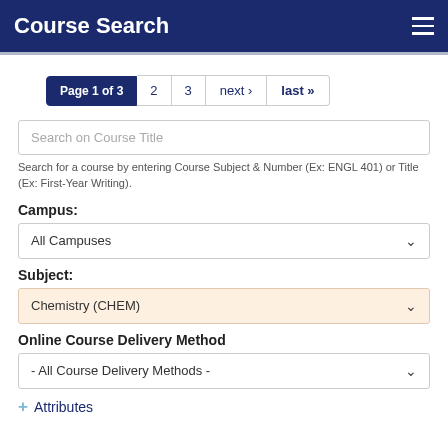Course Search
Page 1 of 3  2  3  next ›  last »
Search on Course Title
Search for a course by entering Course Subject & Number (Ex: ENGL 401) or Title (Ex: First-Year Writing).
Campus:
All Campuses
Subject:
Chemistry (CHEM)
Online Course Delivery Method
- All Course Delivery Methods -
+ Attributes